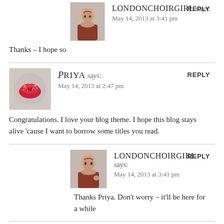[Figure (photo): Avatar of a woman with brown hair wearing a red top]
LONDONCHOIRGIRL says:
May 14, 2013 at 3:41 pm
REPLY
Thanks – I hope so
[Figure (photo): Avatar showing glittery red lips]
Priya says:
May 14, 2013 at 2:47 pm
REPLY
Congratulations. I love your blog theme. I hope this blog stays alive 'cause I want to borrow some titles you read.
[Figure (photo): Avatar of a woman with brown hair wearing a red top]
LONDONCHOIRGIRL says:
May 14, 2013 at 3:41 pm
REPLY
Thanks Priya. Don't worry – it'll be here for a while
[Figure (photo): Avatar of an older man]
VANBRAMAN says:
May 15, 2013 at 5:12 am
REPLY
Nice to hear from you, and looking forward to more news as you work on the